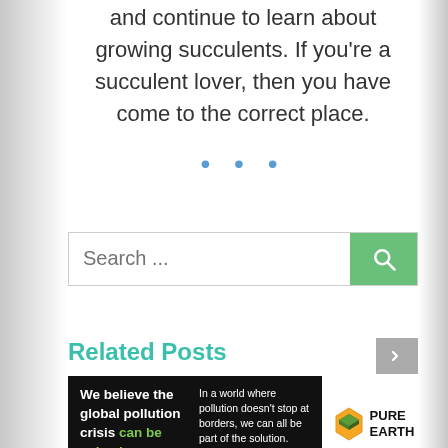and continue to learn about growing succulents. If you're a succulent lover, then you have come to the correct place.
• • •
[Figure (screenshot): Search bar with text 'Search ...' and a green search button with magnifying glass icon]
Related Posts
[Figure (infographic): Advertisement banner: 'We believe the global pollution crisis can be solved. In a world where pollution doesn't stop at borders, we can all be part of the solution. JOIN US.' with Pure Earth logo]